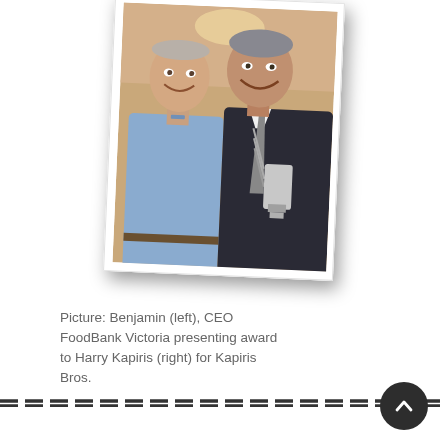[Figure (photo): Two men smiling and posing together. The man on the left is wearing a light blue shirt; the man on the right is wearing a dark suit with a striped tie and holding what appears to be an award trophy. Photo has a white border like a print photograph, slightly rotated.]
Picture: Benjamin (left), CEO FoodBank Victoria presenting award to Harry Kapiris (right) for Kapiris Bros.